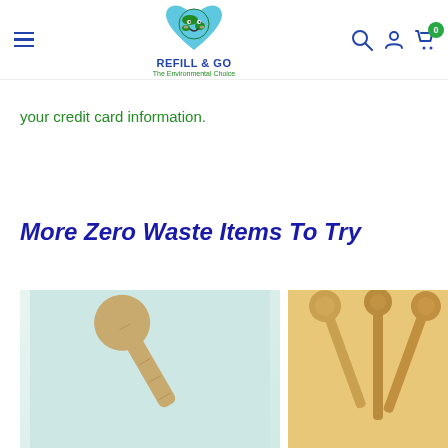Refill & Go - The Environmental Choice
your credit card information.
More Zero Waste Items To Try
[Figure (photo): Wooden spatula/spoon on a light blue-green background]
[Figure (photo): Multiple wooden spoons and utensils on a warm background]